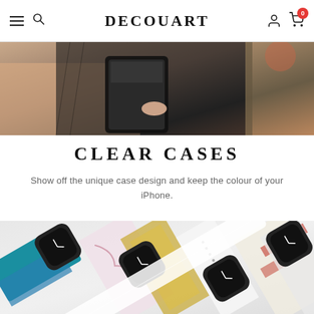DECOUART
[Figure (photo): Person holding a black leather phone case/wallet open, showing phone screen inside. Close-up of hands.]
CLEAR CASES
Show off the unique case design and keep the colour of your iPhone.
[Figure (photo): Multiple Apple Watches displayed diagonally, showing various colorful decorative watch bands with marble, geometric, and artistic patterns.]